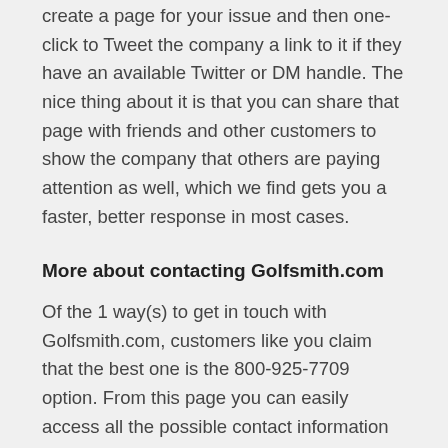create a page for your issue and then one-click to Tweet the company a link to it if they have an available Twitter or DM handle. The nice thing about it is that you can share that page with friends and other customers to show the company that others are paying attention as well, which we find gets you a faster, better response in most cases.
More about contacting Golfsmith.com
Of the 1 way(s) to get in touch with Golfsmith.com, customers like you claim that the best one is the 800-925-7709 option. From this page you can easily access all the possible contact information options for Golfsmith.com as well as read up on common problems that other customers are having, find out how to fix the most popular ones, read reviews, and